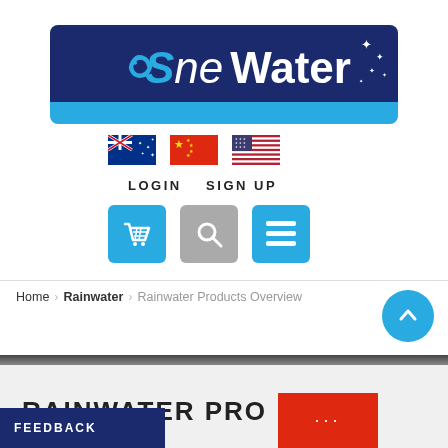[Figure (logo): One Water logo on dark navy blue banner with cyan bottom stripe and white stars in upper right]
[Figure (infographic): Three country flags: Australian flag, Chinese flag, and US flag]
LOGIN  SIGN UP
[Figure (infographic): Three icon buttons: blue basket/cart, gray search, blue hamburger menu]
Home  Rainwater  Rainwater Products Overview
[Figure (infographic): Cyan circular up-arrow scroll-to-top button]
RAINWATER PRODUCTS
FEEDBACK
[Figure (infographic): Red block overlay with ellipsis (...)]